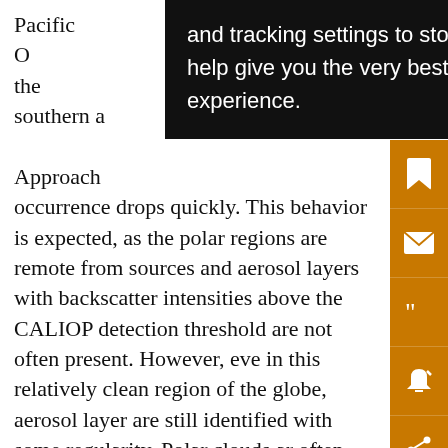Pacific O[cean, which covers much] of the southern a[tmosphere...] Approach[ing polar regions, aerosol] occurrence drops quickly. This behavior is expected, as the polar regions are remote from sources and aerosol layers with backscatter intensities above the CALIOP detection threshold are not often present. However, even in this relatively clean region of the globe, aerosol layers are still identified with some regularity. Polar clouds are often low-lying, optically thin, and spatially diffuse clouds, and can be composed of ice, water, or a mixture of both. The spatial distributions and optical properties of polar clouds are distinctly different from the distributions encountered at lower latitudes, and this can cause difficulties for the CAD algorithm. At present, a single set
[Figure (other): Black tooltip/cookie consent overlay reading: 'and tracking settings to store information that help give you the very best browsing experience.']